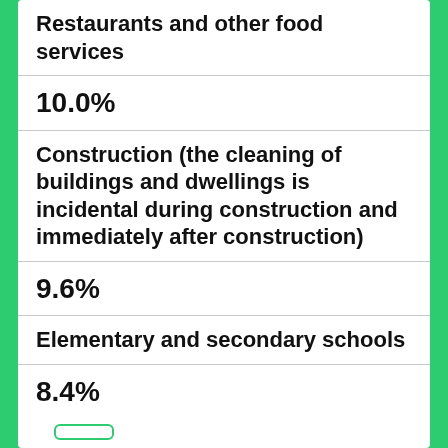Restaurants and other food services
10.0%
Construction (the cleaning of buildings and dwellings is incidental during construction and immediately after construction)
9.6%
Elementary and secondary schools
8.4%